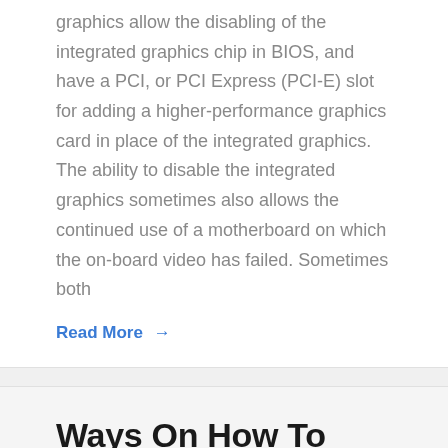graphics allow the disabling of the integrated graphics chip in BIOS, and have a PCI, or PCI Express (PCI-E) slot for adding a higher-performance graphics card in place of the integrated graphics. The ability to disable the integrated graphics sometimes also allows the continued use of a motherboard on which the on-board video has failed. Sometimes both
Read More →
Ways On How To Develop Your Personality
Don't be discouraged when you don't see quick